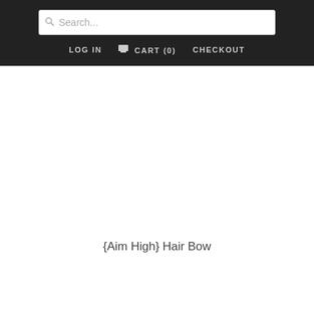Search... LOG IN CART (0) CHECKOUT
[Figure (photo): Product image area (white/blank) for {Aim High} Hair Bow]
{Aim High} Hair Bow